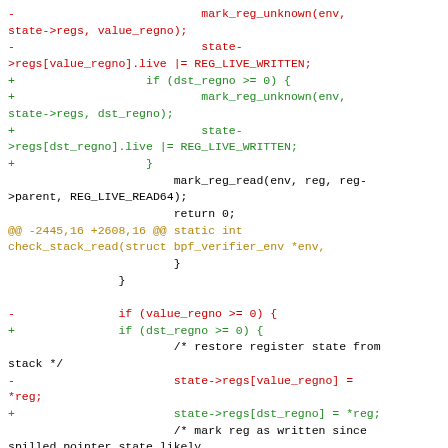Code diff showing changes to BPF verifier register handling, replacing value_regno with dst_regno in check_stack_read function.